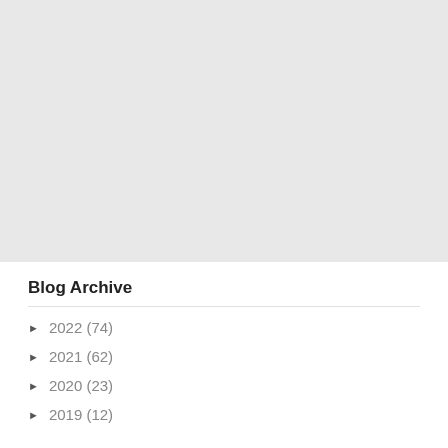[Figure (other): Large gray blank area occupying the top portion of the page]
Blog Archive
► 2022 (74)
► 2021 (62)
► 2020 (23)
► 2019 (12)